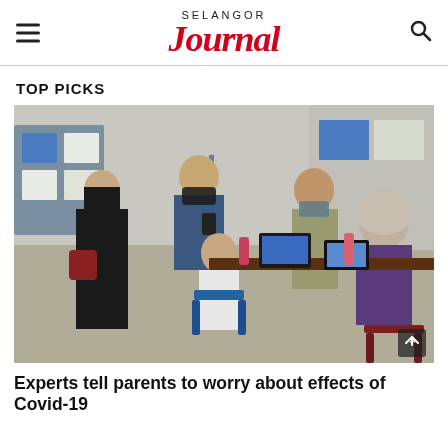SELANGOR JOURNAL
TOP PICKS
[Figure (photo): People at a COVID-19 vaccination or registration centre. A child in a white shirt sits on a blue chair, with a woman in black hijab and a man in a dark blue shirt wearing a mask standing nearby. At the right, healthcare workers sit at a table with laptops and hand sanitizer bottles.]
Experts tell parents to worry about effects of Covid-19